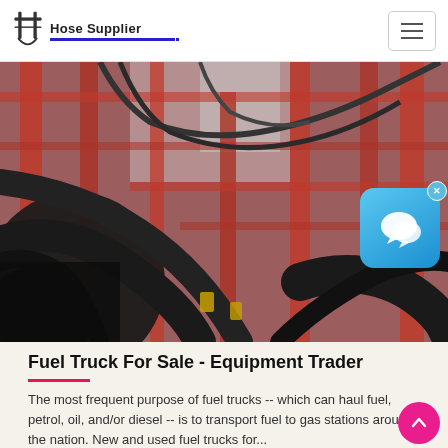Hose Supplier
[Figure (photo): Close-up photo of black hydraulic hoses draped over red industrial machinery/equipment, showing hose connections and fittings against a background of red metal structures]
Fuel Truck For Sale - Equipment Trader
The most frequent purpose of fuel trucks -- which can haul fuel, petrol, oil, and/or diesel -- is to transport fuel to gas stations around the nation. New and used fuel trucks for...